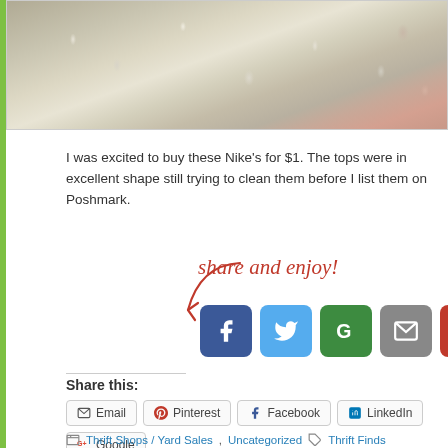[Figure (photo): Close-up photo of a fluffy rug with beige/cream and pink/red sections, showing textured fibers]
I was excited to buy these Nike's for $1. The tops were in excellent shape still trying to clean them before I list them on Poshmark.
[Figure (illustration): Handwritten red cursive text 'share and enjoy!' with a red arrow pointing to social media share buttons]
[Figure (infographic): Row of social media share icon buttons: Facebook (blue), Twitter (light blue), Google+ (green), Email (grey), Pinterest (red), and one more partially visible]
Share this:
Email
Pinterest
Facebook
LinkedIn
Google+
Tumblr
Twitter
Thrift Shops / Yard Sales, Uncategorized  Thrift Finds